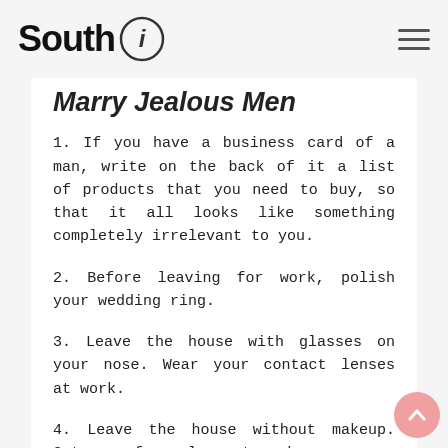South i
Marry Jealous Men
1. If you have a business card of a man, write on the back of it a list of products that you need to buy, so that it all looks like something completely irrelevant to you.
2. Before leaving for work, polish your wedding ring.
3. Leave the house with glasses on your nose. Wear your contact lenses at work.
4. Leave the house without makeup. Get your face clean at work.
5. If you need to call a man from home...